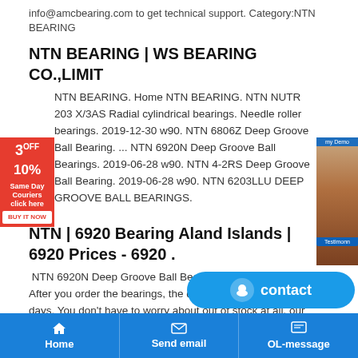info@amcbearing.com to get technical support. Category:NTN BEARING
NTN BEARING | WS BEARING CO.,LIMIT
NTN BEARING. Home NTN BEARING. NTN NUTR 203 X/3AS Radial cylindrical bearings. Needle roller bearings. 2019-12-30 w90. NTN 6806Z Deep Groove Ball Bearing. ... NTN 6920N Deep Groove Ball Bearings. 2019-06-28 w90. NTN 4-2RS Deep Groove Ball Bearing. 2019-06-28 w90. NTN 6203LLU DEEP GROOVE BALL BEARINGS.
NTN | 6920 Bearing Aland Islands | 6920 Prices - 6920 .
NTN 6920N Deep Groove Ball Bearings | WS BEARING CO. After you order the bearings, the delivery time is about 5-7 days. You don't have to worry about out of stock at all, our inventory of NTN 6920N Bearing is large enough to meet your needs. Now when you enter the purchase you will get the best price.
NTN 16048M bearing with long life in Mali - Bearing Ho
NTN 6920N bearing in India Product esta online vi. Explorer series 6920N bearing in India have more advantages ,such as higher meet rated , lower noise,
Home   Send email   OL-message